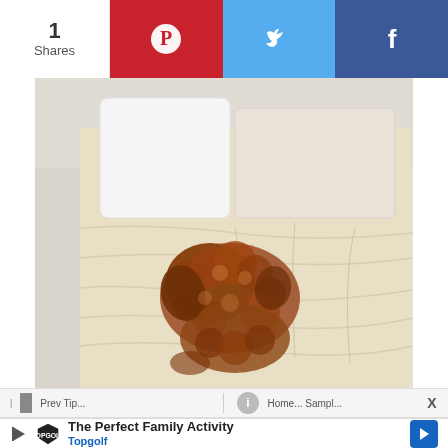1
Shares
[Figure (logo): Pinterest share button (red background with white P icon)]
[Figure (logo): Twitter share button (blue background with white bird icon)]
[Figure (logo): Facebook share button (dark blue background with white f icon)]
[Figure (photo): A curly brown dog lying on a beige/cream bed with white pillows in the background]
X
The Perfect Family Activity
Topgolf